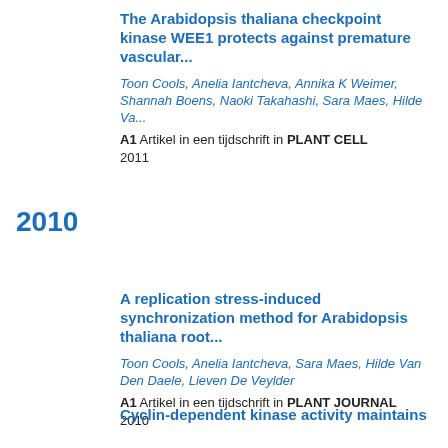The Arabidopsis thaliana checkpoint kinase WEE1 protects against premature vascular...
Toon Cools, Anelia Iantcheva, Annika K Weimer, Shannah Boens, Naoki Takahashi, Sara Maes, Hilde Va...
A1 Artikel in een tijdschrift in PLANT CELL
2011
2010
A replication stress-induced synchronization method for Arabidopsis thaliana root...
Toon Cools, Anelia Iantcheva, Sara Maes, Hilde Van Den Daele, Lieven De Veylder
A1 Artikel in een tijdschrift in PLANT JOURNAL
2010
Cyclin-dependent kinase activity maintains